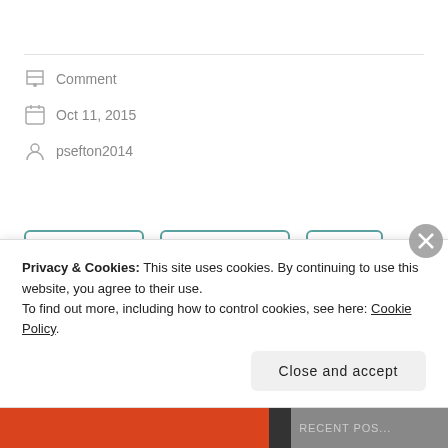Comment
Oct 11, 2015
psefton2014
city of london
danny kinahan
gadafy
kate hoey
lady hermon
Libya
Privacy & Cookies: This site uses cookies. By continuing to use this website, you agree to their use. To find out more, including how to control cookies, see here: Cookie Policy
Close and accept